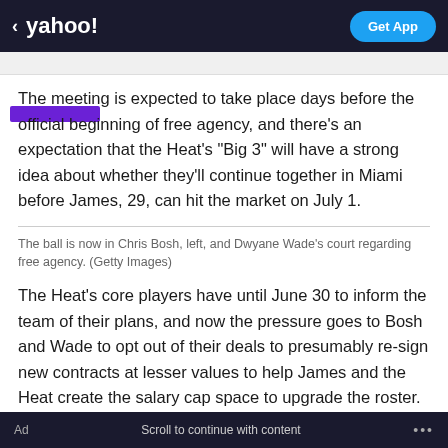< yahoo! | Get App
The meeting is expected to take place days before the official beginning of free agency, and there's an expectation that the Heat's "Big 3" will have a strong idea about whether they'll continue together in Miami before James, 29, can hit the market on July 1.
The ball is now in Chris Bosh, left, and Dwyane Wade's court regarding free agency. (Getty Images)
The Heat's core players have until June 30 to inform the team of their plans, and now the pressure goes to Bosh and Wade to opt out of their deals to presumably re-sign new contracts at lesser values to help James and the Heat create the salary cap space to upgrade the roster.
Ad    Scroll to continue with content    ...